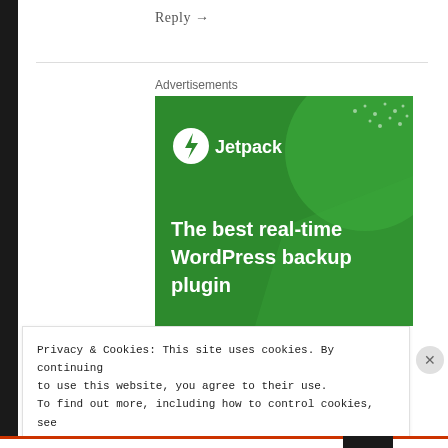Reply →
Advertisements
[Figure (illustration): Jetpack advertisement banner with green background showing Jetpack logo and text 'The best real-time WordPress backup plugin']
Privacy & Cookies: This site uses cookies. By continuing to use this website, you agree to their use.
To find out more, including how to control cookies, see here: Cookie Policy
Close and accept